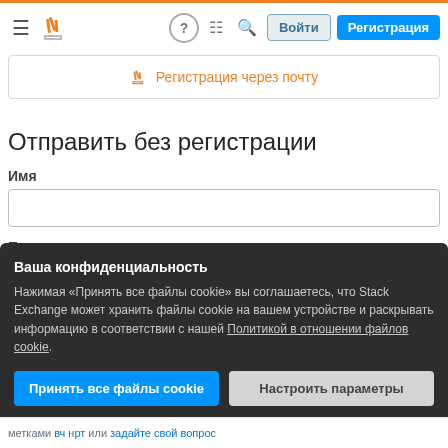Stack Exchange navigation bar with hamburger menu, logo, help, chat, search icons, Войти (Login) and Регистрация (Register) buttons
Регистрация через почту
Отправить без регистрации
Имя
Почта
Необходима, но никому не показывается
Ваша конфиденциальность
Нажимая «Принять все файлы cookie» вы соглашаетесь, что Stack Exchange может хранить файлы cookie на вашем устройстве и раскрывать информацию в соответствии с нашей Политикой в отношении файлов cookie.
Принять все файлы cookie
Настроить параметры
метками или задайте свой вопрос